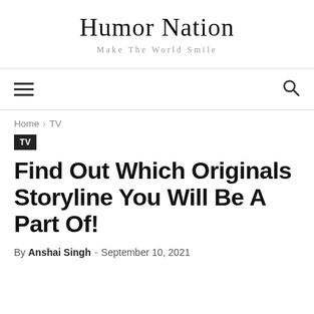Humor Nation
Make The World Smile
≡  🔍
Home › TV
TV
Find Out Which Originals Storyline You Will Be A Part Of!
By Anshai Singh - September 10, 2021